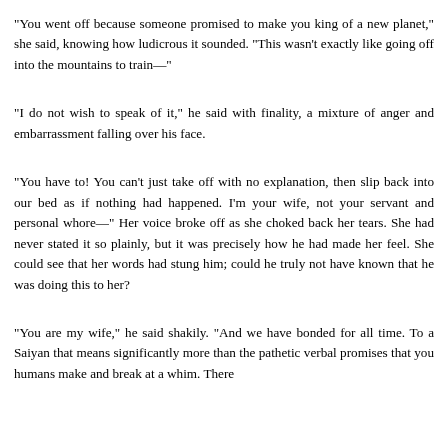"You went off because someone promised to make you king of a new planet," she said, knowing how ludicrous it sounded. "This wasn't exactly like going off into the mountains to train—"
"I do not wish to speak of it," he said with finality, a mixture of anger and embarrassment falling over his face.
"You have to! You can't just take off with no explanation, then slip back into our bed as if nothing had happened. I'm your wife, not your servant and personal whore—" Her voice broke off as she choked back her tears. She had never stated it so plainly, but it was precisely how he had made her feel. She could see that her words had stung him; could he truly not have known that he was doing this to her?
"You are my wife," he said shakily. "And we have bonded for all time. To a Saiyan that means significantly more than the pathetic verbal promises that you humans make and break at a whim. There